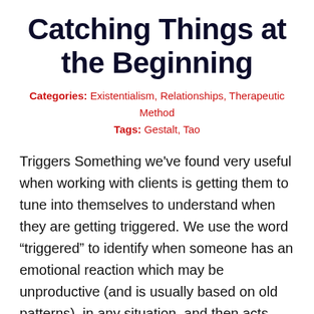Catching Things at the Beginning
Categories: Existentialism, Relationships, Therapeutic Method
Tags: Gestalt, Tao
Triggers Something we've found very useful when working with clients is getting them to tune into themselves to understand when they are getting triggered. We use the word “triggered” to identify when someone has an emotional reaction which may be unproductive (and is usually based on old patterns), in any situation, and then acts based [...]